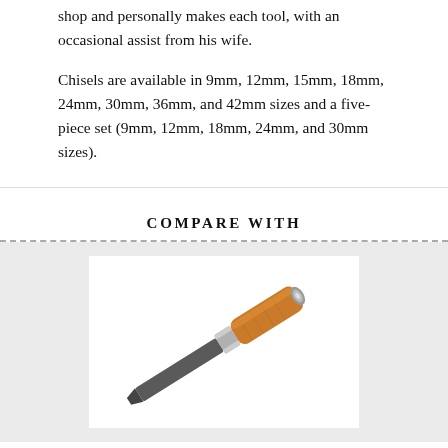shop and personally makes each tool, with an occasional assist from his wife.
Chisels are available in 9mm, 12mm, 15mm, 18mm, 24mm, 30mm, 36mm, and 42mm sizes and a five-piece set (9mm, 12mm, 18mm, 24mm, and 30mm sizes).
COMPARE WITH
[Figure (photo): A wood chisel with an orange/copper-colored handle and a metal ferrule, shown diagonally on a white background.]